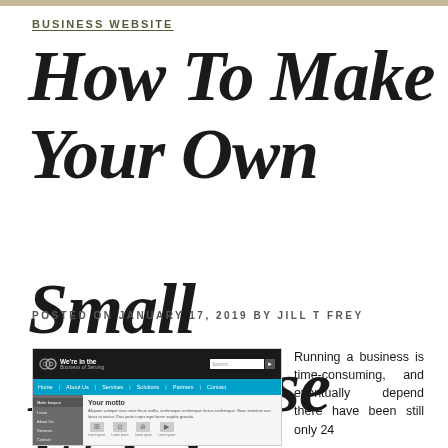BUSINESS WEBSITE
How To Make Your Own Small Enterprise Website
POSTED ON JANUARY 17, 2019 BY JILL T FREY
[Figure (screenshot): Screenshot of a small business website mockup with dark header, blue navigation bar, gray sidebar, and main content area with icons]
Running a business is time-consuming, and eventually depend there have been still only 24